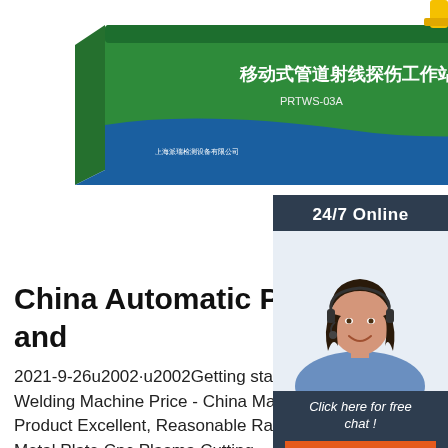[Figure (photo): 3D rendering of a mobile pipeline X-ray inspection workstation — a green shipping container with Chinese text '移动式管道射线探伤工作站' and a robotic arm extending to the right with a long probe/pipe mechanism, yellow crane hook visible at top.]
24/7 Online
[Figure (photo): Customer service agent — woman with dark hair, wearing headset and blue shirt, smiling, shown from shoulders up against a light background.]
Click here for free chat !
QUOTATION
China Automatic Pipe Welding Machine Price Factory and
2021-9-26u2002·u2002Getting started; Automatic Pipe Welding Machine Price; Automatic Pipe Welding Machine Price - China Manufacturers, Factory, Suppliers The key to our success is 'Good Product Excellent, Reasonable Rate and Efficient Service' for Automatic Pipe Welding Machine Price, Metal Plate Cnc Plasma Cutting